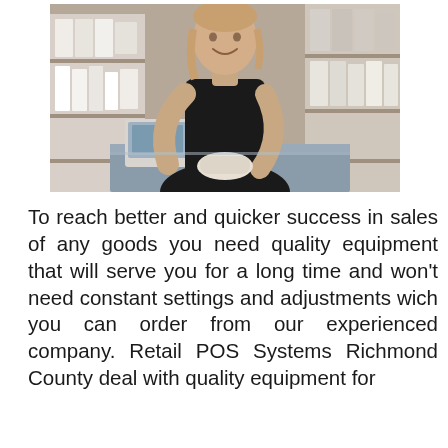[Figure (photo): A smiling young woman in a black sleeveless top standing behind a retail counter, holding a product (possibly a shoe or item), with shelves of various products visible in the background.]
To reach better and quicker success in sales of any goods you need quality equipment that will serve you for a long time and won't need constant settings and adjustments wich you can order from our experienced company. Retail POS Systems Richmond County deal with quality equipment for...